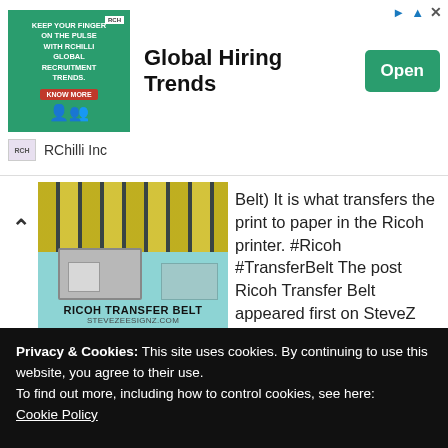[Figure (screenshot): Advertisement banner for RChilli Inc showing 'Global Hiring Trends' with a green Open button and brand logo]
[Figure (photo): Ricoh Transfer Belt product image with teal background showing industrial belt machinery, captioned RICOH TRANSFER BELT / STEVEZEESIGNZ.COM]
Belt) It is what transfers the print to paper in the Ricoh printer. #Ricoh #TransferBelt The post Ricoh Transfer Belt appeared first on SteveZ DesignZ. Read more »
Source: SteveZ DesignZ
Privacy & Cookies: This site uses cookies. By continuing to use this website, you agree to their use.
To find out more, including how to control cookies, see here:
Cookie Policy